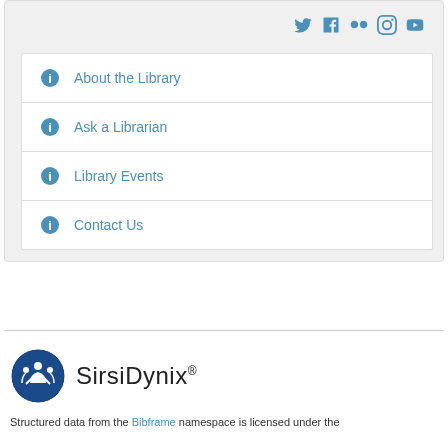[Figure (screenshot): Social media icons row: Twitter, Facebook, Flickr, Instagram, YouTube in blue]
About the Library
Ask a Librarian
Library Events
Contact Us
[Figure (logo): SirsiDynix logo with circular icon showing figures and text SirsiDynix]
Structured data from the Bibframe namespace is licensed under the